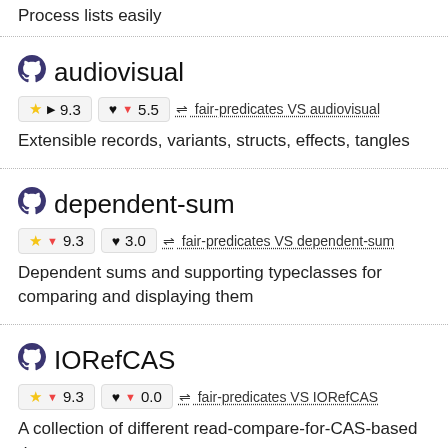Process lists easily
audiovisual
★ ▶ 9.3   ♥ ▼ 5.5   ⇌ fair-predicates VS audiovisual
Extensible records, variants, structs, effects, tangles
dependent-sum
★ ▼ 9.3   ♥ 3.0   ⇌ fair-predicates VS dependent-sum
Dependent sums and supporting typeclasses for comparing and displaying them
IORefCAS
★ ▼ 9.3   ♥ ▼ 0.0   ⇌ fair-predicates VS IORefCAS
A collection of different read-compare-for-CAS-based data...